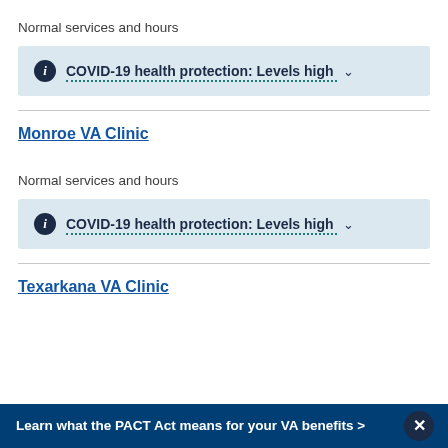Normal services and hours
COVID-19 health protection: Levels high
Monroe VA Clinic
Normal services and hours
COVID-19 health protection: Levels high
Texarkana VA Clinic
Learn what the PACT Act means for your VA benefits >